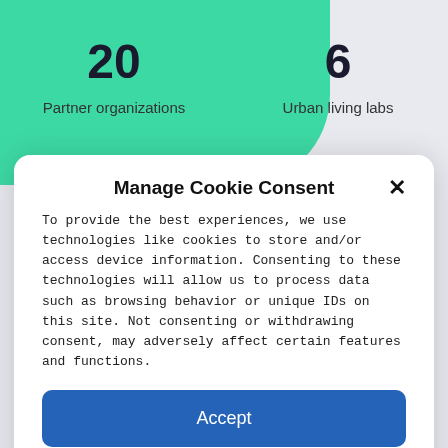20
Partner organizations
6
Urban living labs
Manage Cookie Consent
To provide the best experiences, we use technologies like cookies to store and/or access device information. Consenting to these technologies will allow us to process data such as browsing behavior or unique IDs on this site. Not consenting or withdrawing consent, may adversely affect certain features and functions.
Accept
Deny
View preferences
Cookie Policy   Privacy policy